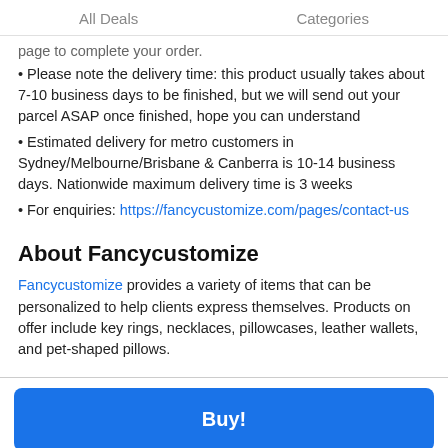All Deals   Categories
page to complete your order.
Please note the delivery time: this product usually takes about 7-10 business days to be finished, but we will send out your parcel ASAP once finished, hope you can understand
Estimated delivery for metro customers in Sydney/Melbourne/Brisbane & Canberra is 10-14 business days. Nationwide maximum delivery time is 3 weeks
For enquiries: https://fancycustomize.com/pages/contact-us
About Fancycustomize
Fancycustomize provides a variety of items that can be personalized to help clients express themselves. Products on offer include key rings, necklaces, pillowcases, leather wallets, and pet-shaped pillows.
Buy!